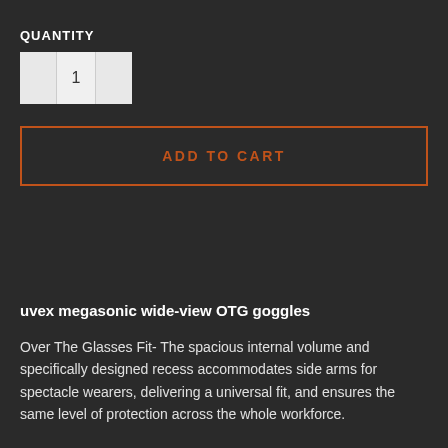QUANTITY
1
ADD TO CART
uvex megasonic wide-view OTG goggles
Over The Glasses Fit- The spacious internal volume and specifically designed recess accommodates side arms for spectacle wearers, delivering a universal fit, and ensures the same level of protection across the whole workforce.